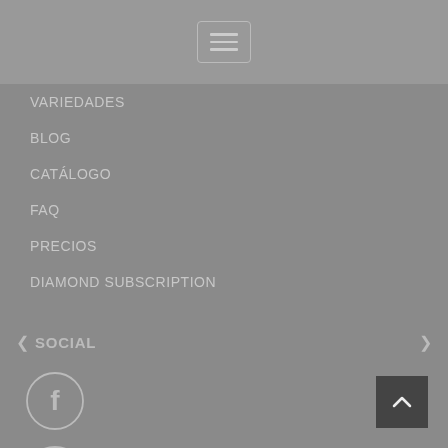[Figure (screenshot): Hamburger menu button (three horizontal lines) inside a rounded rectangle border]
VARIEDADES
BLOG
CATÁLOGO
FAQ
PRECIOS
DIAMOND SUBSCRIPTION
< SOCIAL >
[Figure (illustration): Facebook circular icon (outline style)]
[Figure (illustration): Twitter circular icon (outline style)]
[Figure (illustration): Instagram circular icon (outline style)]
[Figure (illustration): Back to top button with upward chevron arrow]